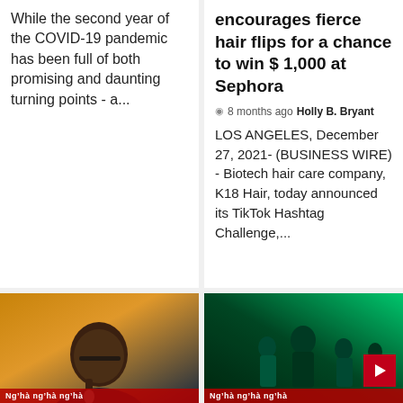While the second year of the COVID-19 pandemic has been full of both promising and daunting turning points - a...
encourages fierce hair flips for a chance to win $1,000 at Sephora
8 months ago  Holly B. Bryant
LOS ANGELES, December 27, 2021- (BUSINESS WIRE) - Biotech hair care company, K18 Hair, today announced its TikTok Hashtag Challenge,...
[Figure (photo): Photo of a Black man with glasses and beard holding a microphone, wearing a dark blue jacket, against an orange background]
[Figure (photo): Movie poster-style image showing multiple figures in dark clothing with green tinted lighting, Matrix Resurrections style]